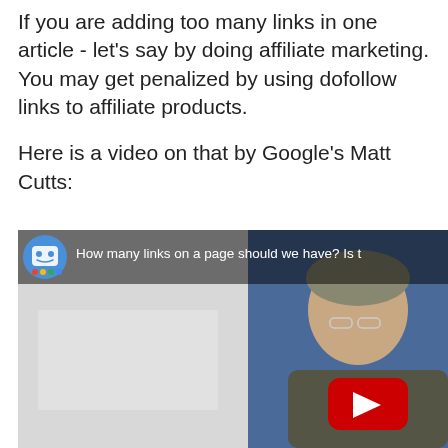If you are adding too many links in one article - let's say by doing affiliate marketing. You may get penalized by using dofollow links to affiliate products.

Here is a video on that by Google's Matt Cutts:
[Figure (screenshot): YouTube video thumbnail showing a robot/smiley icon and title 'How many links on a page should we have? Is t...' with a man (Matt Cutts) visible on the right side and a red play button overlaid]